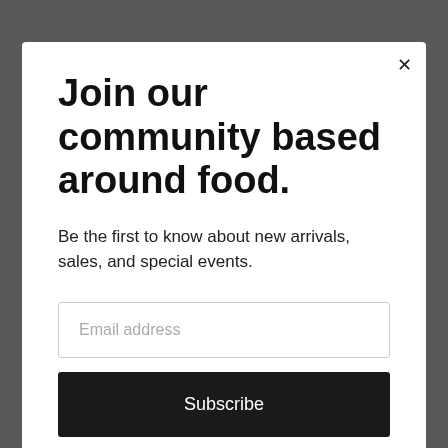The Ranchers
We are Chad and Laurie Trigg, a Metis Family from rural Alberta. We are striving to create a community based
Join our community based around food.
Be the first to know about new arrivals, sales, and special events.
Email address
Subscribe